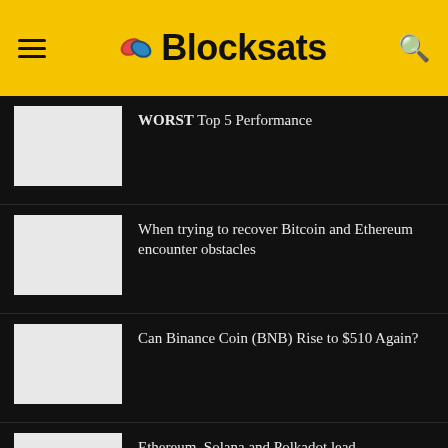Blocksats
WORST Top 5 Performance
When trying to recover Bitcoin and Ethereum encounter obstacles
Can Binance Coin (BNB) Rise to $510 Again?
Ethereum, Solana and Polkadot lead